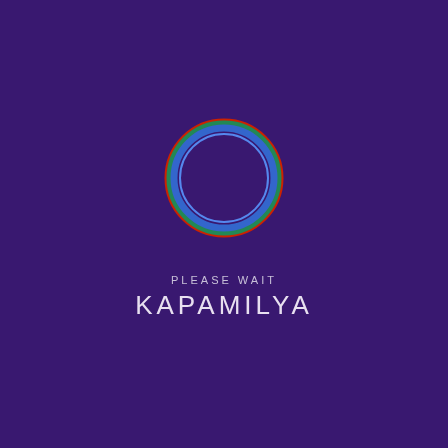[Figure (logo): A circular ring logo with layered colored strokes: red on the outside, then green, then blue on the inside, on a deep purple background.]
PLEASE WAIT
KAPAMILYA